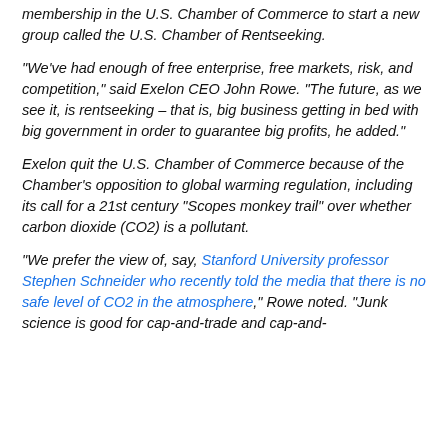membership in the U.S. Chamber of Commerce to start a new group called the U.S. Chamber of Rentseeking.
“We’ve had enough of free enterprise, free markets, risk, and competition,” said Exelon CEO John Rowe. “The future, as we see it, is rentseeking – that is, big business getting in bed with big government in order to guarantee big profits, he added.”
Exelon quit the U.S. Chamber of Commerce because of the Chamber’s opposition to global warming regulation, including its call for a 21st century “Scopes monkey trail” over whether carbon dioxide (CO2) is a pollutant.
“We prefer the view of, say, Stanford University professor Stephen Schneider who recently told the media that there is no safe level of CO2 in the atmosphere,” Rowe noted. “Junk science is good for cap-and-trade and cap-and-